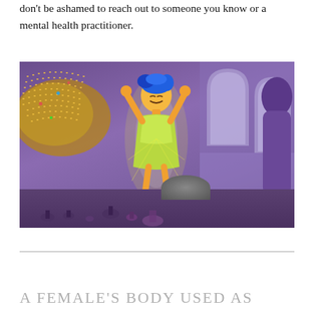don't be ashamed to reach out to someone you know or a mental health practitioner.
[Figure (photo): A still from the Pixar animated film 'Inside Out' showing the character Joy with blue hair and a green dress, arms raised in celebration, surrounded by a purple glowing headquarters environment with stadium-like seats on the left and arched windows on the right.]
A FEMALE'S BODY USED AS